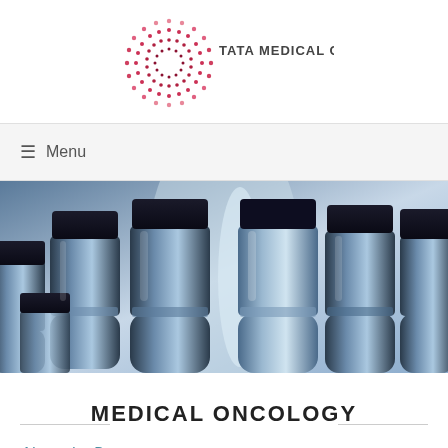[Figure (logo): Tata Medical Center logo with dot-matrix circular pattern and text 'TATA MEDICAL CENTER']
☰  Menu
[Figure (photo): Close-up photo of multiple glass medical/pharmaceutical vials with dark caps, in blue-tinted lighting]
MEDICAL ONCOLOGY
About the Department